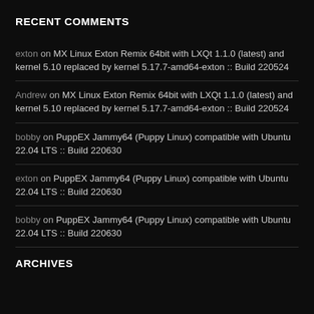RECENT COMMENTS
exton on MX Linux Exton Remix 64bit with LXQt 1.1.0 (latest) and kernel 5.10 replaced by kernel 5.17.7-amd64-exton :: Build 220524
Andrew on MX Linux Exton Remix 64bit with LXQt 1.1.0 (latest) and kernel 5.10 replaced by kernel 5.17.7-amd64-exton :: Build 220524
bobby on PuppEX Jammy64 (Puppy Linux) compatible with Ubuntu 22.04 LTS :: Build 220630
exton on PuppEX Jammy64 (Puppy Linux) compatible with Ubuntu 22.04 LTS :: Build 220630
bobby on PuppEX Jammy64 (Puppy Linux) compatible with Ubuntu 22.04 LTS :: Build 220630
ARCHIVES